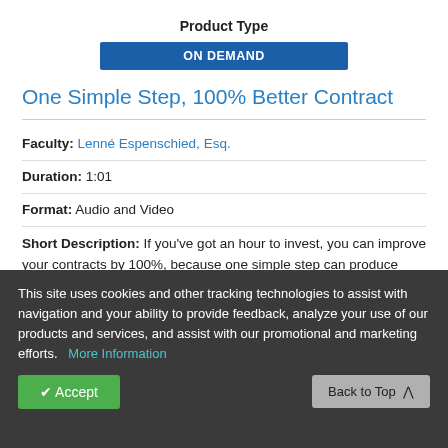Product Type
ON DEMAND
One Simple Step, 100% Better Contract
Faculty: Lenné Espenschied, Esq.
Duration: 1:01
Format: Audio and Video
Short Description: If you've got an hour to invest, you can improve your contracts by 100%, because one simple step can produce powerful results.  In contract drafting it's important to know which terminology is most reliable.   In this program, we'll consider 10 ways you can immediately
This site uses cookies and other tracking technologies to assist with navigation and your ability to provide feedback, analyze your use of our products and services, and assist with our promotional and marketing efforts.  More Information
✔ Accept
Back to Top ∧